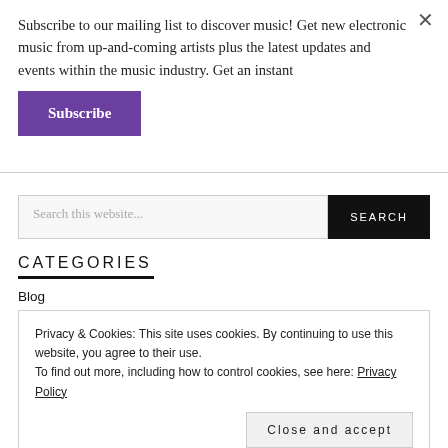Subscribe to our mailing list to discover music! Get new electronic music from up-and-coming artists plus the latest updates and events within the music industry. Get an instant
Subscribe
Search this website...
SEARCH
CATEGORIES
Blog
Privacy & Cookies: This site uses cookies. By continuing to use this website, you agree to their use.
To find out more, including how to control cookies, see here: Privacy Policy
Close and accept
PVRP Music Cares